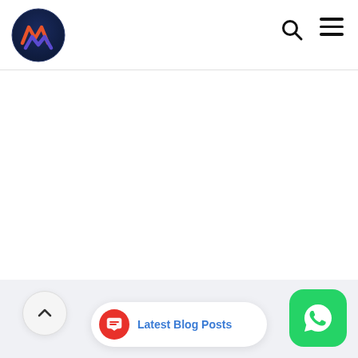[Figure (logo): Circular logo with dark blue background, orange and purple/indigo diamond/chevron shapes forming an 'M' and 'W' monogram.]
[Figure (other): Search icon (magnifying glass) in top right of header bar.]
[Figure (other): Hamburger menu icon (three horizontal lines) in top right corner of header.]
[Figure (other): Back to top arrow button (chevron up) in lower left, circular white button.]
[Figure (other): Latest Blog Posts pill/button with red chat icon on left and blue text 'Latest Blog Posts' on white rounded pill.]
[Figure (other): WhatsApp button — green rounded square with white WhatsApp logo in bottom right corner.]